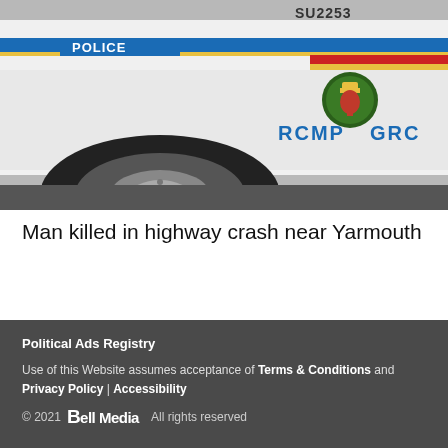[Figure (photo): RCMP police car showing the side panel with 'SU2253' number, 'POLICE' lettering in blue stripe, RCMP/GRC badge and text, and a colorful stripe in blue, yellow, and red.]
Man killed in highway crash near Yarmouth
Follow on
[Figure (infographic): Social media icons: Facebook (f), Twitter (bird), Instagram (camera outline)]
Political Ads Registry
Use of this Website assumes acceptance of Terms & Conditions and Privacy Policy | Accessibility
© 2021 Bell Media All rights reserved